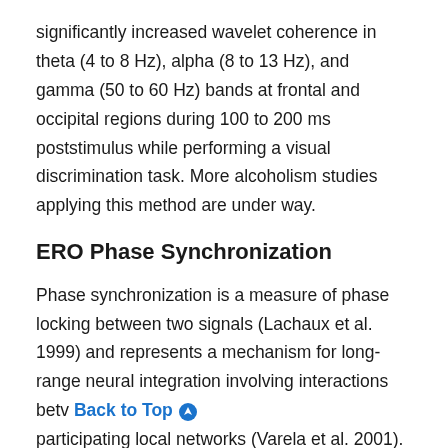significantly increased wavelet coherence in theta (4 to 8 Hz), alpha (8 to 13 Hz), and gamma (50 to 60 Hz) bands at frontal and occipital regions during 100 to 200 ms poststimulus while performing a visual discrimination task. More alcoholism studies applying this method are under way.
ERO Phase Synchronization
Phase synchronization is a measure of phase locking between two signals (Lachaux et al. 1999) and represents a mechanism for long-range neural integration involving interactions betv [Back to Top] participating local networks (Varela et al. 2001). In